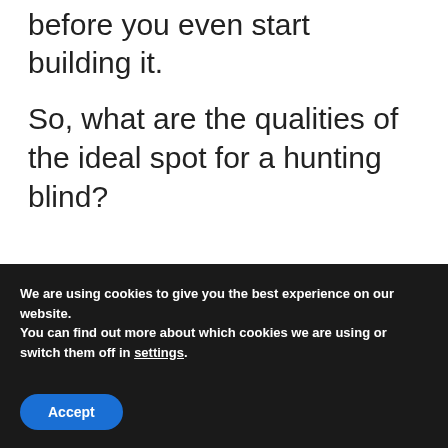before you even start building it.
So, what are the qualities of the ideal spot for a hunting blind?
We are using cookies to give you the best experience on our website.
You can find out more about which cookies we are using or switch them off in settings.
Accept